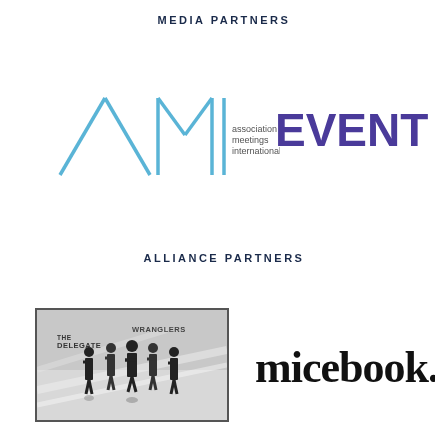MEDIA PARTNERS
[Figure (logo): AMI association meetings international logo — angular lines forming letter A, M and vertical bar I, with text 'association meetings international' in small grey sans-serif]
[Figure (logo): EVENTIT logo — bold purple/violet uppercase text 'EVENTIT']
ALLIANCE PARTNERS
[Figure (logo): The Delegate Wranglers logo — black and white photo of silhouetted business figures with text 'THE DELEGATE WRANGLERS' in a rectangular bordered image]
[Figure (logo): micebook. logo — bold black lowercase text 'micebook.' with period]